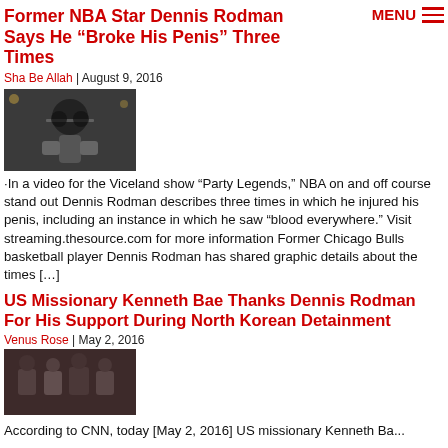Former NBA Star Dennis Rodman Says He “Broke His Penis” Three Times
Sha Be Allah | August 9, 2016
[Figure (photo): Photo of Dennis Rodman wearing sunglasses]
In a video for the Viceland show “Party Legends,” NBA on and off course stand out Dennis Rodman describes three times in which he injured his penis, including an instance in which he saw “blood everywhere.” Visit streaming.thesource.com for more information Former Chicago Bulls basketball player Dennis Rodman has shared graphic details about the times […]
US Missionary Kenneth Bae Thanks Dennis Rodman For His Support During North Korean Detainment
Venus Rose | May 2, 2016
[Figure (photo): Photo of Kenneth Bae with others]
According to CNN, today [May 2, 2016] US missionary Kenneth Ba...